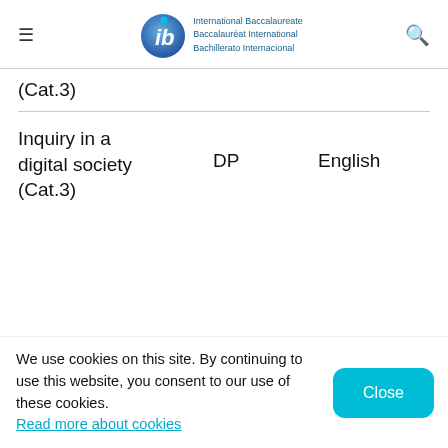[Figure (logo): International Baccalaureate logo with IB globe icon and trilingual name]
International Baccalaureate Baccalauréat International Bachillerato Internacional
(Cat.3)
Inquiry in a digital society (Cat.3)	DP	English
We use cookies on this site. By continuing to use this website, you consent to our use of these cookies. Read more about cookies